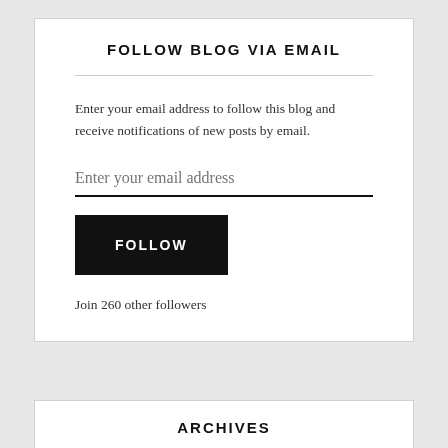FOLLOW BLOG VIA EMAIL
Enter your email address to follow this blog and receive notifications of new posts by email.
Enter your email address
FOLLOW
Join 260 other followers
ARCHIVES